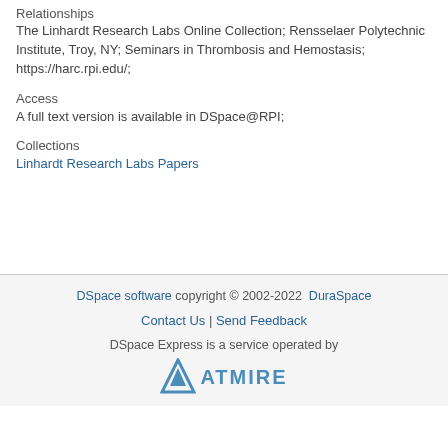Relationships
The Linhardt Research Labs Online Collection; Rensselaer Polytechnic Institute, Troy, NY; Seminars in Thrombosis and Hemostasis; https://harc.rpi.edu/;
Access
A full text version is available in DSpace@RPI;
Collections
Linhardt Research Labs Papers
DSpace software copyright © 2002-2022  DuraSpace | Contact Us | Send Feedback | DSpace Express is a service operated by ATMIRE